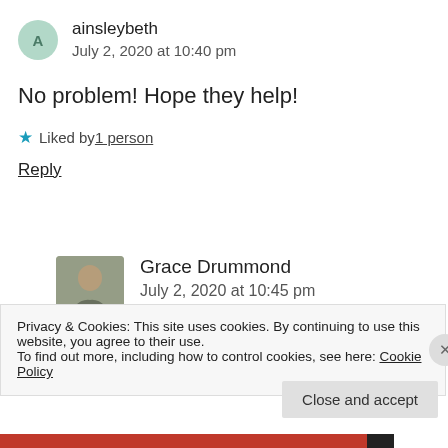[Figure (illustration): User avatar circle with letter A for ainsleybeth]
ainsleybeth
July 2, 2020 at 10:40 pm
No problem! Hope they help!
★ Liked by 1 person
Reply
[Figure (photo): Profile photo of Grace Drummond]
Grace Drummond
July 2, 2020 at 10:45 pm
Privacy & Cookies: This site uses cookies. By continuing to use this website, you agree to their use.
To find out more, including how to control cookies, see here: Cookie Policy
Close and accept